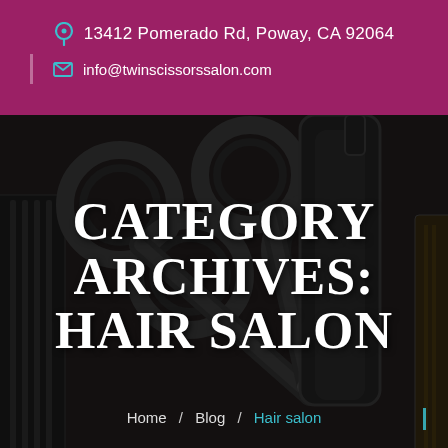13412 Pomerado Rd, Poway, CA 92064
info@twinscissorssalon.com
[Figure (photo): Dark background photo of black professional scissors, hair spray bottle, and black comb on a surface, overlaid with dark translucent filter]
CATEGORY ARCHIVES: HAIR SALON
Home / Blog / Hair salon